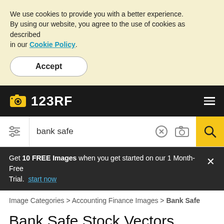We use cookies to provide you with a better experience. By using our website, you agree to the use of cookies as described in our Cookie Policy.
Accept
123RF
bank safe
Get 10 FREE Images when you get started on our 1 Month-Free Trial. start now
Image Categories > Accounting Finance Images > Bank Safe
Bank Safe Stock Vectors, Clipart and Illustrations